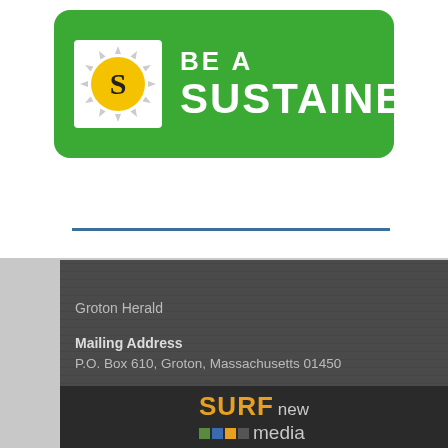[Figure (logo): Be a Sustainer banner with green background, sun logo with letter S, and white bold text reading BE A SUSTAINER]
Groton Herald
Mailing Address
P.O. Box 610, Groton, Massachusetts 01450
Office
145 Main Street, Groton, Massachusetts 014510
[Prescott Community Center]
Telephone: 978-448-6061
Site Links
[Figure (logo): SURF new media logo with orange SURF text, small colored pixel squares, and light gray 'new media' text on dark background]